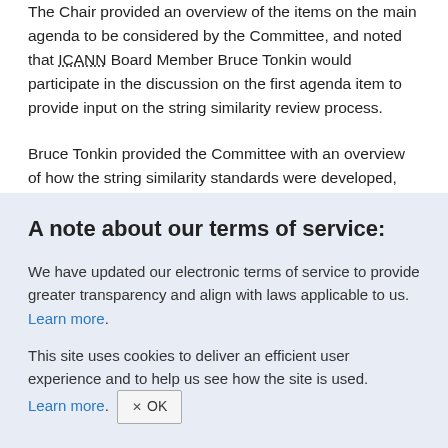The Chair provided an overview of the items on the main agenda to be considered by the Committee, and noted that ICANN Board Member Bruce Tonkin would participate in the discussion on the first agenda item to provide input on the string similarity review process.
Bruce Tonkin provided the Committee with an overview of how the string similarity standards were developed, explaining that
A note about our terms of service:
We have updated our electronic terms of service to provide greater transparency and align with laws applicable to us. Learn more.
This site uses cookies to deliver an efficient user experience and to help us see how the site is used. Learn more. OK